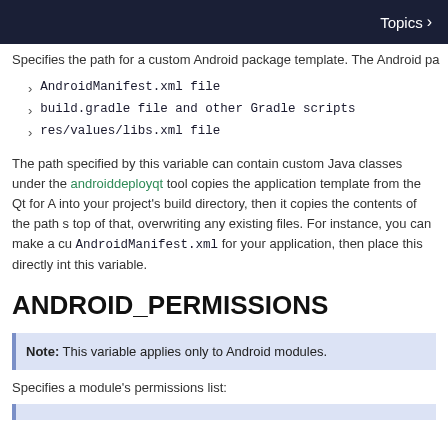Topics >
Specifies the path for a custom Android package template. The Android pa
AndroidManifest.xml file
build.gradle file and other Gradle scripts
res/values/libs.xml file
The path specified by this variable can contain custom Java classes under the androiddeployqt tool copies the application template from the Qt for A into your project's build directory, then it copies the contents of the path s top of that, overwriting any existing files. For instance, you can make a cu AndroidManifest.xml for your application, then place this directly into this variable.
ANDROID_PERMISSIONS
Note: This variable applies only to Android modules.
Specifies a module's permissions list: